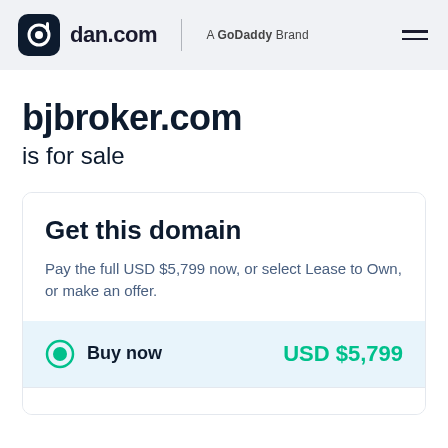dan.com — A GoDaddy Brand
bjbroker.com is for sale
Get this domain
Pay the full USD $5,799 now, or select Lease to Own, or make an offer.
Buy now — USD $5,799